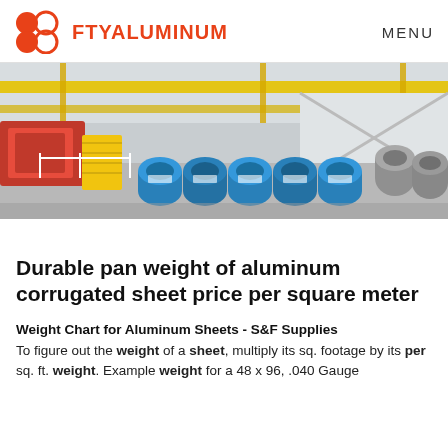FTYALUMINUM   MENU
[Figure (photo): Industrial aluminum factory interior showing rolls/coils of aluminum sheet wrapped in blue packaging, with overhead cranes, yellow scaffolding, and warehouse space]
Durable pan weight of aluminum corrugated sheet price per square meter
Weight Chart for Aluminum Sheets - S&F Supplies
To figure out the weight of a sheet, multiply its sq. footage by its per sq. ft. weight. Example weight for a 48 x 96, .040 Gauge